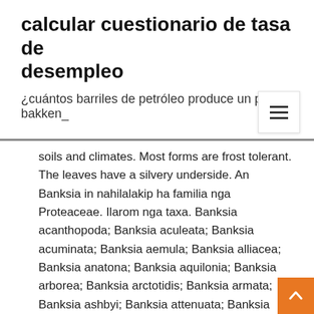calcular cuestionario de tasa de desempleo
¿cuántos barriles de petróleo produce un pozo bakken_
soils and climates. Most forms are frost tolerant. The leaves have a silvery underside. An Banksia in nahilalakip ha familia nga Proteaceae. Ilarom nga taxa. Banksia acanthopoda; Banksia aculeata; Banksia acuminata; Banksia aemula; Banksia alliacea; Banksia anatona; Banksia aquilonia; Banksia arborea; Banksia arctotidis; Banksia armata; Banksia ashbyi; Banksia attenuata; Banksia audax; Banksia aurantia; Banksia baueri Banksia prionotes, commonly known as Acorn Banksia or Orange Banksia, is a speci. - Banksia prionotes, commonly known as Acorn Banksia or Orange Banksia, is a species of shrub or tree - Amazing Unusual Plants To Grow In Your Garden Advice For Growing Beautiful Flowers, Produce And Other Plants - Useful Garden Ideas General Description: Banksia ornata is usually a rounded shrub up to 2 metres high